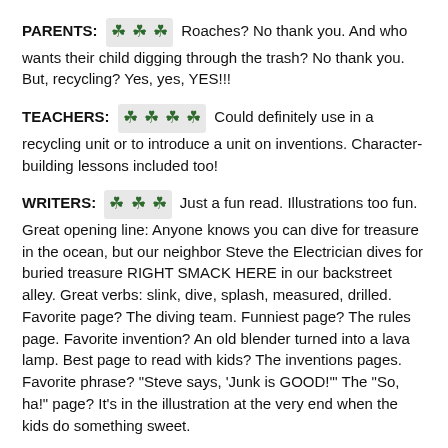PARENTS: [3 shamrocks] Roaches? No thank you. And who wants their child digging through the trash? No thank you. But, recycling? Yes, yes, YES!!!
TEACHERS: [4 shamrocks] Could definitely use in a recycling unit or to introduce a unit on inventions. Character-building lessons included too!
WRITERS: [3 shamrocks] Just a fun read. Illustrations too fun. Great opening line: Anyone knows you can dive for treasure in the ocean, but our neighbor Steve the Electrician dives for buried treasure RIGHT SMACK HERE in our backstreet alley. Great verbs: slink, dive, splash, measured, drilled. Favorite page? The diving team. Funniest page? The rules page. Favorite invention? An old blender turned into a lava lamp. Best page to read with kids? The inventions pages. Favorite phrase? "Steve says, 'Junk is GOOD!'" The "So, ha!" page? It's in the illustration at the very end when the kids do something sweet.
YOUR TURN: ...